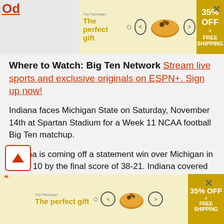[Figure (infographic): Top advertisement banner: 'The perfect gift' with bowl image, navigation arrows, 35% OFF + FREE SHIPPING offer]
Where to Watch: Big Ten Network Stream live sports and exclusive originals on ESPN+. Sign up now!
Indiana faces Michigan State on Saturday, November 14th at Spartan Stadium for a Week 11 NCAA football Big Ten matchup.
Indiana is coming off a statement win over Michigan in Week 10 by the final score of 38-21. Indiana covered the number easily in that one, beating Michigan by three scores at home to move its record to 3-0 on the year. Indiana is now ranked #10 in the nation according to the AP Polls, which no one could have imagined heading into
[Figure (infographic): Bottom advertisement banner: 'The perfect gift' with bowl image, navigation arrows, 35% OFF + FREE SHIPPING offer]